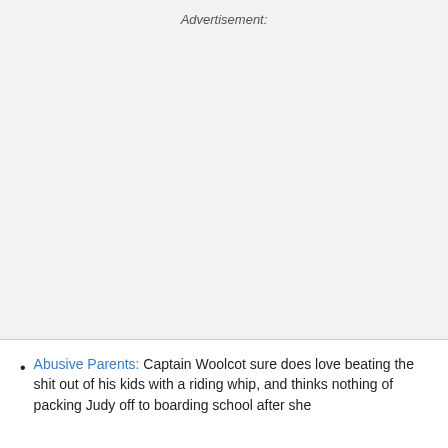[Figure (other): Advertisement placeholder area with light gray background]
Abusive Parents: Captain Woolcot sure does love beating the shit out of his kids with a riding whip, and thinks nothing of packing Judy off to boarding school after she